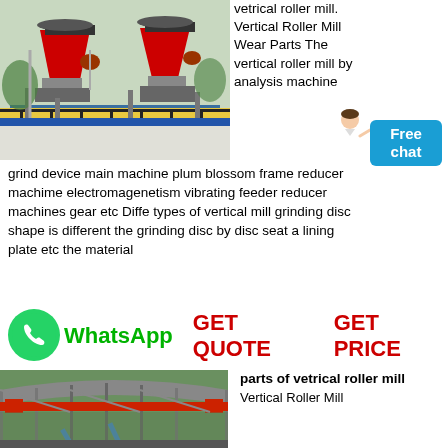[Figure (photo): Industrial vertical roller mill machinery with red and black components on a factory floor]
vetrical roller mill. Vertical Roller Mill Wear Parts The vertical roller mill by analysis machine
[Figure (illustration): Customer service representative icon]
[Figure (infographic): Free chat button in blue]
grind device main machine plum blossom frame reducer machime electromagenetism vibrating feeder reducer machines gear etc Diffe types of vertical mill grinding disc shape is different the grinding disc by disc seat a lining plate etc the material
[Figure (logo): WhatsApp green logo icon]
WhatsApp
GET QUOTE   GET PRICE
[Figure (photo): Industrial factory interior with overhead crane and conveyor systems under a large curved roof]
parts of vetrical roller mill Vertical Roller Mill